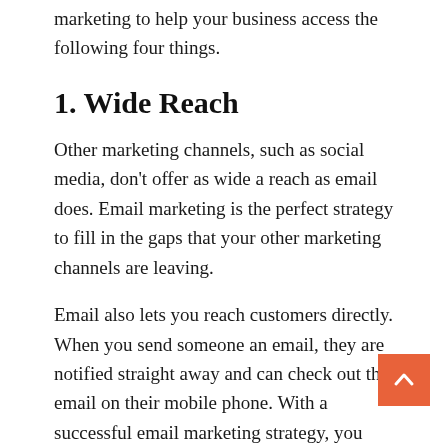marketing to help your business access the following four things.
1. Wide Reach
Other marketing channels, such as social media, don't offer as wide a reach as email does. Email marketing is the perfect strategy to fill in the gaps that your other marketing channels are leaving.
Email also lets you reach customers directly. When you send someone an email, they are notified straight away and can check out the email on their mobile phone. With a successful email marketing strategy, you will be able to access a more direct line of communication with the customer.
2. Email Motivates Action